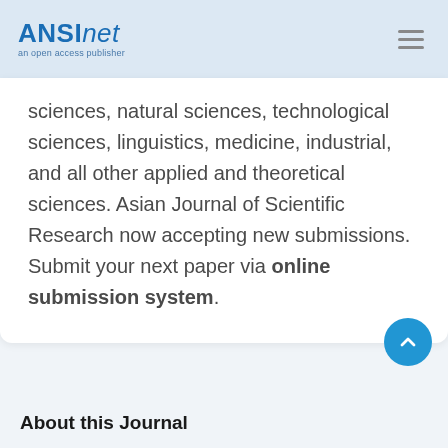ANSInet an open access publisher
sciences, natural sciences, technological sciences, linguistics, medicine, industrial, and all other applied and theoretical sciences. Asian Journal of Scientific Research now accepting new submissions. Submit your next paper via online submission system.
About this Journal